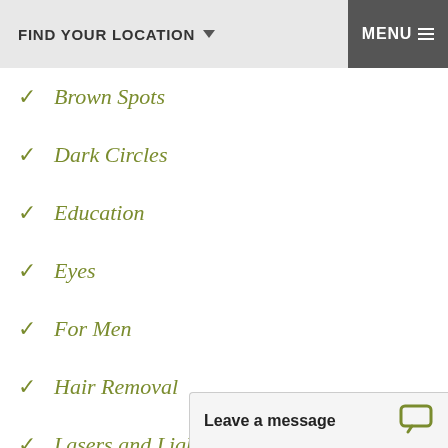FIND YOUR LOCATION    MENU
Brown Spots
Dark Circles
Education
Eyes
For Men
Hair Removal
Lasers and Lights
Lines/Wrinkles
Leave a message